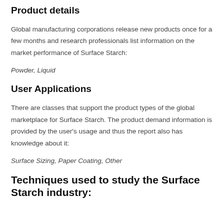Product details
Global manufacturing corporations release new products once for a few months and research professionals list information on the market performance of Surface Starch:
Powder, Liquid
User Applications
There are classes that support the product types of the global marketplace for Surface Starch. The product demand information is provided by the user's usage and thus the report also has knowledge about it:
Surface Sizing, Paper Coating, Other
Techniques used to study the Surface Starch industry: